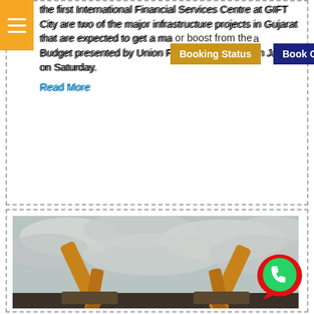the first International Financial Services Centre at GIFT City are two of the major infrastructure projects in Gujarat that are expected to get a major boost from the Budget presented by Union Finance Minister Arun Jaitley on Saturday.
Read More
[Figure (photo): Construction excavators with their arms raised against a cloudy sky, photographed from a low angle. Two excavator booms visible in foreground.]